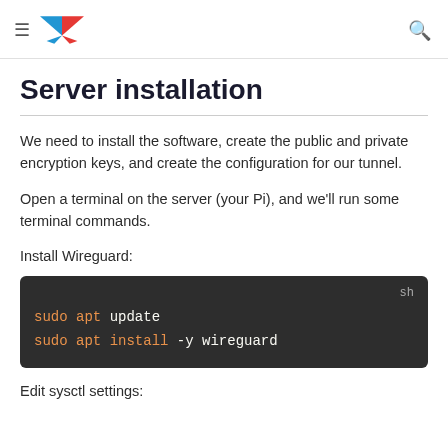≡ [logo] [search]
Server installation
We need to install the software, create the public and private encryption keys, and create the configuration for our tunnel.
Open a terminal on the server (your Pi), and we'll run some terminal commands.
Install Wireguard:
[Figure (screenshot): Dark terminal code block showing: sh label top right, then two lines: 'sudo apt update' and 'sudo apt install -y wireguard', with sudo and apt in orange, rest in white, on dark background.]
Edit sysctl settings: